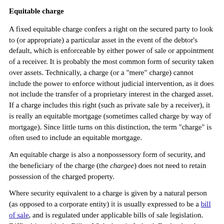Equitable charge
A fixed equitable charge confers a right on the secured party to look to (or appropriate) a particular asset in the event of the debtor's default, which is enforceable by either power of sale or appointment of a receiver. It is probably the most common form of security taken over assets. Technically, a charge (or a "mere" charge) cannot include the power to enforce without judicial intervention, as it does not include the transfer of a proprietary interest in the charged asset. If a charge includes this right (such as private sale by a receiver), it is really an equitable mortgage (sometimes called charge by way of mortgage). Since little turns on this distinction, the term "charge" is often used to include an equitable mortgage.
An equitable charge is also a nonpossessory form of security, and the beneficiary of the charge (the chargee) does not need to retain possession of the charged property.
Where security equivalent to a charge is given by a natural person (as opposed to a corporate entity) it is usually expressed to be a bill of sale, and is regulated under applicable bills of sale legislation. Difficulties with the Bills of Sale Acts in Ireland, England and Wales have made it virtually impossible for individuals to create floating charges.